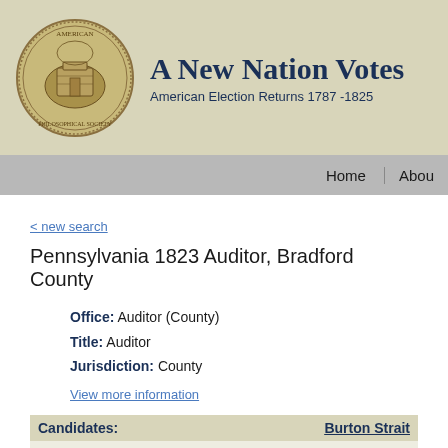A New Nation Votes — American Election Returns 1787-1825
Home | About
< new search
Pennsylvania 1823 Auditor, Bradford County
Office: Auditor (County)
Title: Auditor
Jurisdiction: County
View more information
| Candidates: | Burton Strait |
| --- | --- |
| Affiliation: | Republican |
| Final Result: | 1168 |
| Bradford County | 1168 |
| Asylum | 37 |
| Athens | 37 |